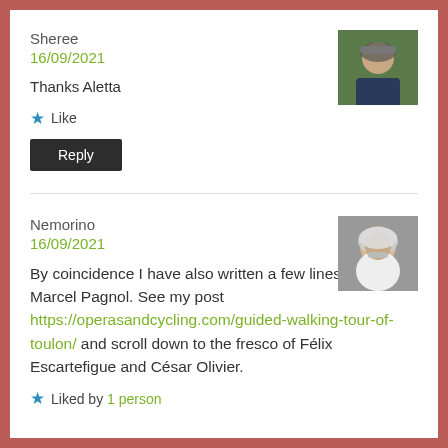Sheree
16/09/2021
Thanks Aletta
★ Like
Reply
[Figure (photo): Avatar photo of Sheree, person in cycling helmet and dark jacket outdoors]
Nemorino
16/09/2021
By coincidence I have also written a few lines about Marcel Pagnol. See my post https://operasandcycling.com/guided-walking-tour-of-toulon/ and scroll down to the fresco of Félix Escartefigue and César Olivier.
★ Liked by 1 person
[Figure (photo): Avatar photo of Nemorino, older man with glasses and white beard]